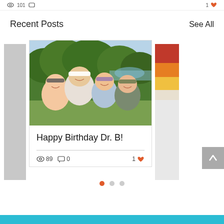Recent Posts | See All
Recent Posts
See All
[Figure (photo): Four people smiling outdoors in baseball caps, with trees and a lake in the background.]
Happy Birthday Dr. B!
89 views · 0 comments · 1 like
[Figure (photo): Partially visible card on right side showing colorful stripes.]